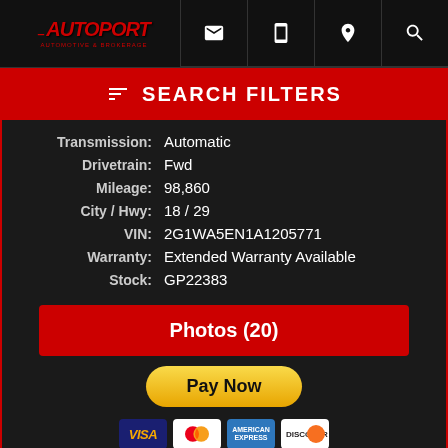AUTOPORT - Navigation bar with logo and icons
SEARCH FILTERS
| Label | Value |
| --- | --- |
| Transmission: | Automatic |
| Drivetrain: | Fwd |
| Mileage: | 98,860 |
| City / Hwy: | 18 / 29 |
| VIN: | 2G1WA5EN1A1205771 |
| Warranty: | Extended Warranty Available |
| Stock: | GP22383 |
Photos (20)
[Figure (screenshot): Pay Now button with PayPal-style golden pill button and credit card icons (Visa, Mastercard, American Express, Discover)]
[Figure (logo): Show Me The CARFAX logo in white box]